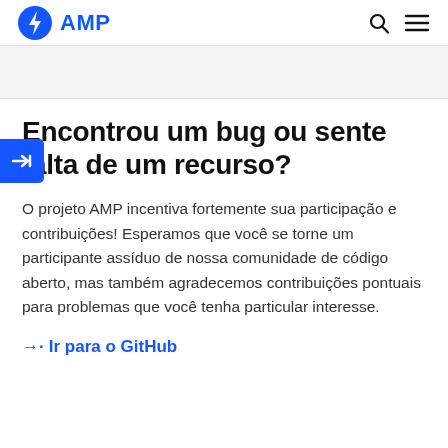AMP
Encontrou um bug ou sente falta de um recurso?
O projeto AMP incentiva fortemente sua participação e contribuições! Esperamos que você se torne um participante assíduo de nossa comunidade de código aberto, mas também agradecemos contribuições pontuais para problemas que você tenha particular interesse.
→· Ir para o GitHub